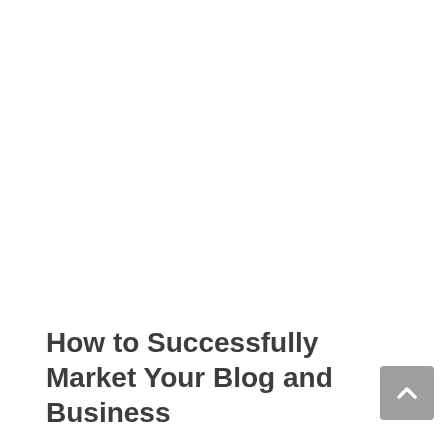How to Successfully Market Your Blog and Business